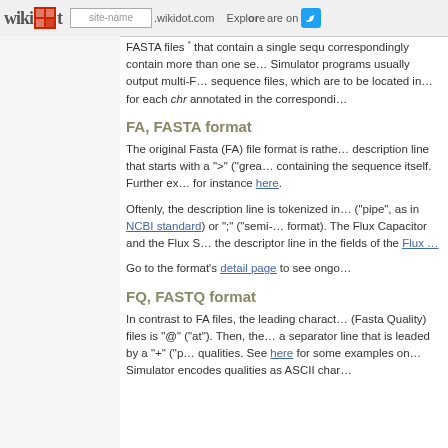wikidot | site-name .wikidot.com | Explore | Share on [Twitter]
FASTA files that contain a single sequence correspondingly contain more than one se... Simulator programs usually output multi-F... sequence files, which are to be located in ... for each chr annotated in the corresponding
FA, FASTA format
The original Fasta (FA) file format is rathe... description line that starts with a ">" ("grea... containing the sequence itself. Further ex... for instance here.
Oftenly, the description line is tokenized in... ("pipe", as in NCBI standard) or ";" ("semi-... format). The Flux Capacitor and the Flux S... the descriptor line in the fields of the Flux ...
Go to the format's detail page to see ongo...
FQ, FASTQ format
In contrast to FA files, the leading charact... (Fasta Quality) files is "@" ("at"). Then, the... a separator line that is leaded by a "+" ("p... qualities. See here for some examples on... Simulator encodes qualities as ASCII char...